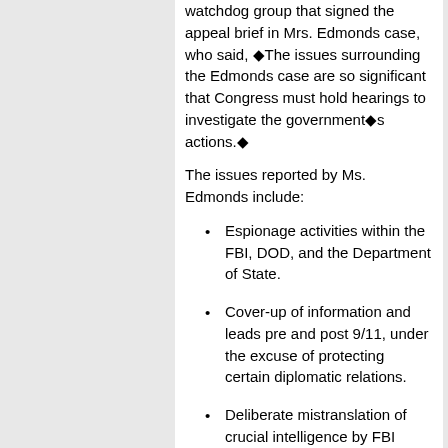watchdog group that signed the appeal brief in Mrs. Edmonds case, who said, ◆The issues surrounding the Edmonds case are so significant that Congress must hold hearings to investigate the government◆s actions.◆
The issues reported by Ms. Edmonds include:
Espionage activities within the FBI, DOD, and the Department of State.
Cover-up of information and leads pre and post 9/11, under the excuse of protecting certain diplomatic relations.
Deliberate mistranslation of crucial intelligence by FBI translators and management.
Foreign entities bribing government officials and elected representatives.
Civil Liberty advocates assert that these issues point to an abuse of power, a criminal conspiracy and attempts to cover-up wrong doing by using the coercive power of the state.